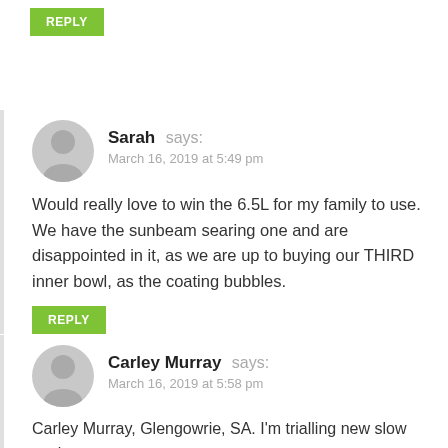REPLY
Sarah says:
March 16, 2019 at 5:49 pm
Would really love to win the 6.5L for my family to use. We have the sunbeam searing one and are disappointed in it, as we are up to buying our THIRD inner bowl, as the coating bubbles.
REPLY
Carley Murray says:
March 16, 2019 at 5:58 pm
Carley Murray, Glengowrie, SA. I'm trialling new slow cooker